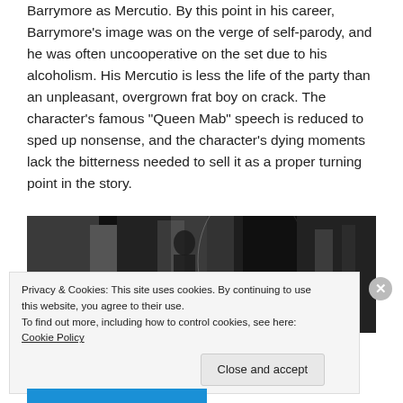Barrymore as Mercutio. By this point in his career, Barrymore's image was on the verge of self-parody, and he was often uncooperative on the set due to his alcoholism. His Mercutio is less the life of the party than an unpleasant, overgrown frat boy on crack. The character's famous "Queen Mab" speech is reduced to sped up nonsense, and the character's dying moments lack the bitterness needed to sell it as a proper turning point in the story.
[Figure (photo): Black and white film still showing dark, high-contrast scene with shadowy figures]
Privacy & Cookies: This site uses cookies. By continuing to use this website, you agree to their use.
To find out more, including how to control cookies, see here: Cookie Policy
Close and accept